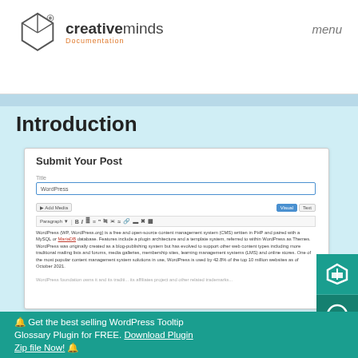[Figure (logo): CreativeMinds Documentation logo — cube icon with registered trademark, text 'creativeminds Documentation' in gray/orange]
menu
Introduction
[Figure (screenshot): Screenshot of a WordPress post editor showing 'Submit Your Post' form with a Title field containing 'WordPress', Add Media button, Visual/Text tabs, formatting toolbar, and body text about WordPress being a free and open-source CMS written in PHP paired with MySQL or MariaDB database.]
🔔 Get the best selling WordPress Tooltip Glossary Plugin for FREE. Download Plugin Zip file Now! 🔔